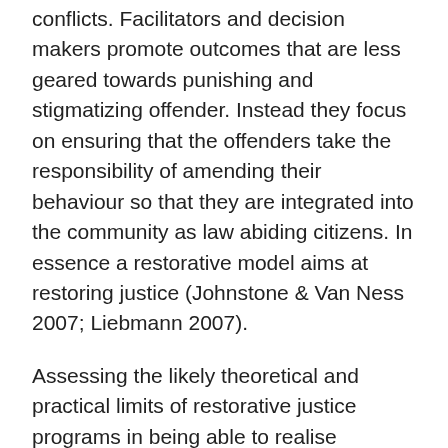conflicts. Facilitators and decision makers promote outcomes that are less geared towards punishing and stigmatizing offender. Instead they focus on ensuring that the offenders take the responsibility of amending their behaviour so that they are integrated into the community as law abiding citizens. In essence a restorative model aims at restoring justice (Johnstone & Van Ness 2007; Liebmann 2007).
Assessing the likely theoretical and practical limits of restorative justice programs in being able to realise “restoration” requires that factors such as time and finances are taken into account. This model to justice is often time consuming and expensive since it involves a series of processes that require a lot of time and resources. Due to lengthy processes involved in restorative justice systems it is somewhat difficult for parties involved to